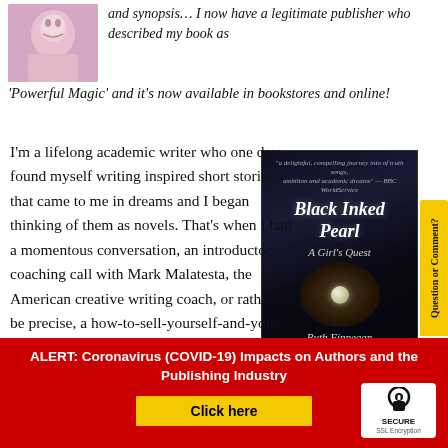[Figure (photo): Small circular photo of a person in pink/purple clothing at top left]
and synopsis… I now have a legitimate publisher who described my book as 'Powerful Magic' and it's now available in bookstores and online!
[Figure (photo): Book cover of 'Black Inked Pearl: A Girl's Quest' by Ruth Finnegan, dark background with pearl imagery]
I'm a lifelong academic writer who one day found myself writing inspired short stories that came to me in dreams and I began thinking of them as novels. That's when I had a momentous conversation, an introductory coaching call with Mark Malatesta, the American creative writing coach, or rather, to be precise, a how-to-sell-yourself-and-your-work adviser. It was the best-spent money of my life apart (possibly)
ALERT: Coronavirus (COVID-19) Impacts on Authors and the Publishing Industry
Click here